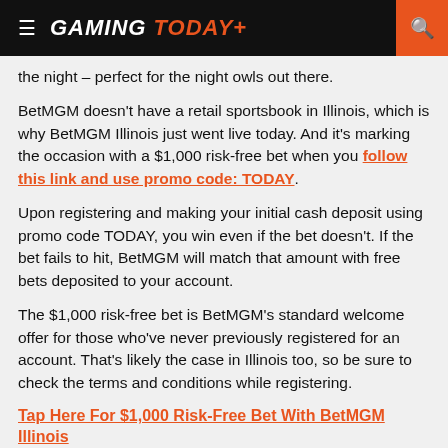GAMING TODAY
the night – perfect for the night owls out there.
BetMGM doesn't have a retail sportsbook in Illinois, which is why BetMGM Illinois just went live today. And it's marking the occasion with a $1,000 risk-free bet when you follow this link and use promo code: TODAY.
Upon registering and making your initial cash deposit using promo code TODAY, you win even if the bet doesn't. If the bet fails to hit, BetMGM will match that amount with free bets deposited to your account.
The $1,000 risk-free bet is BetMGM's standard welcome offer for those who've never previously registered for an account. That's likely the case in Illinois too, so be sure to check the terms and conditions while registering.
Tap Here For $1,000 Risk-Free Bet With BetMGM Illinois